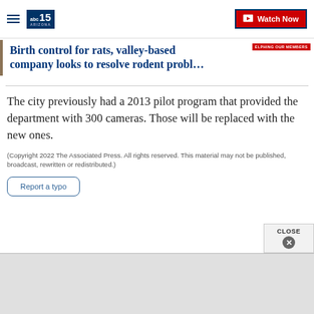ABC15 Arizona — Watch Now
Birth control for rats, valley-based company looks to resolve rodent probl…
The city previously had a 2013 pilot program that provided the department with 300 cameras. Those will be replaced with the new ones.
(Copyright 2022 The Associated Press. All rights reserved. This material may not be published, broadcast, rewritten or redistributed.)
Report a typo